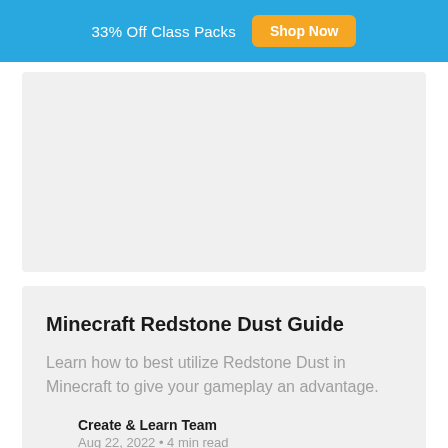33% Off Class Packs  Shop Now
[Figure (other): Gray placeholder image area]
Minecraft Redstone Dust Guide
Learn how to best utilize Redstone Dust in Minecraft to give your gameplay an advantage.
Create & Learn Team
Aug 22, 2022 • 4 min read